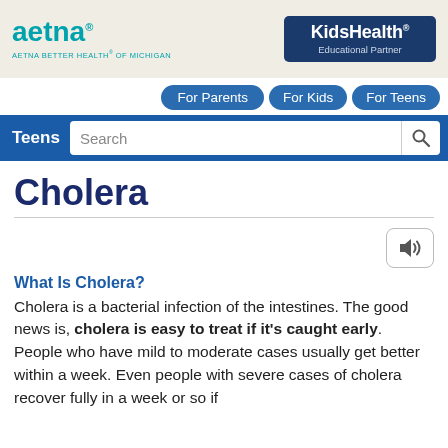aetna | AETNA BETTER HEALTH® OF MICHIGAN | KidsHealth Educational Partner
For Parents | For Kids | For Teens
Teens | Search
Cholera
What Is Cholera?
Cholera is a bacterial infection of the intestines. The good news is, cholera is easy to treat if it's caught early. People who have mild to moderate cases usually get better within a week. Even people with severe cases of cholera recover fully in a week or so if